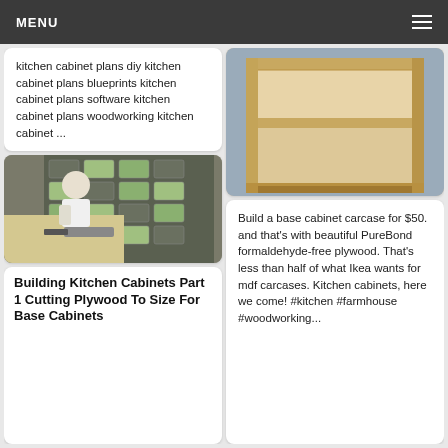MENU
kitchen cabinet plans diy kitchen cabinet plans blueprints kitchen cabinet plans software kitchen cabinet plans woodworking kitchen cabinet ...
[Figure (photo): Photo of a wooden base cabinet carcase, unfinished plywood construction with open shelves, on a blue floor]
[Figure (photo): Photo of a person cutting plywood on a table saw in a workshop with storage drawers in the background]
Building Kitchen Cabinets Part 1 Cutting Plywood To Size For Base Cabinets
Build a base cabinet carcase for $50. and that&#39;s with beautiful PureBond formaldehyde-free plywood. That&#39;s less than half of what Ikea wants for mdf carcases. Kitchen cabinets, here we come! #kitchen #farmhouse #woodworking...